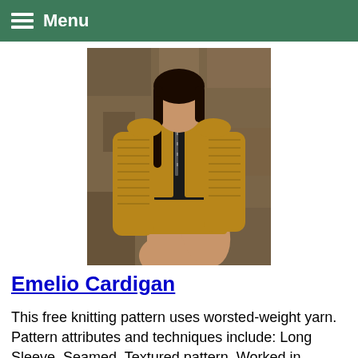Menu
[Figure (photo): A woman wearing a mustard/golden yellow knit cardigan and matching knit shorts with a black top, posing in front of a textured stone wall background.]
Emelio Cardigan
This free knitting pattern uses worsted-weight yarn. Pattern attributes and techniques include: Long Sleeve, Seamed, Textured pattern, Worked in sections.